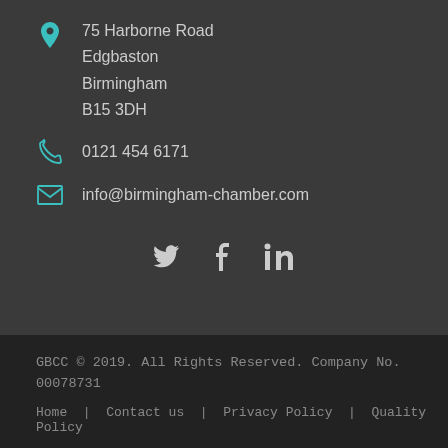75 Harborne Road
Edgbaston
Birmingham
B15 3DH
0121 454 6171
info@birmingham-chamber.com
[Figure (other): Social media icons: Twitter, Facebook, LinkedIn]
GBCC © 2019. All Rights Reserved. Company No. 00078731
Home  |  Contact us  |  Privacy Policy  |  Quality Policy